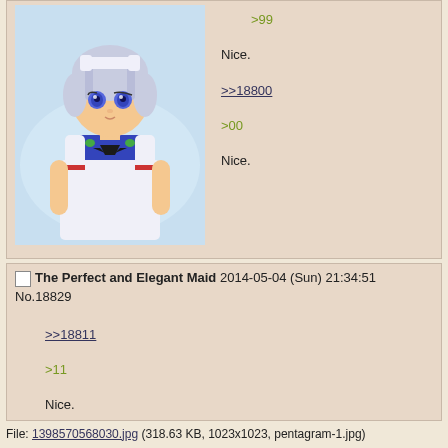[Figure (illustration): Anime-style illustration of a maid character with silver/white hair and blue eyes wearing a blue and white maid outfit]
>99
Nice.
>>18800
>00
Nice.
The Perfect and Elegant Maid 2014-05-04 (Sun) 21:34:51 No.18829
>>18811
>11
Nice.
File: 1398570568030.jpg (318.63 KB, 1023x1023, pentagram-1.jpg)